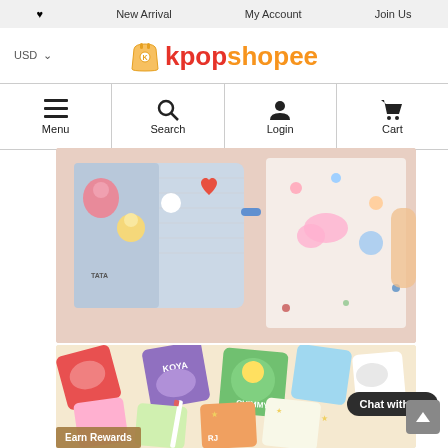♥   New Arrival   My Account   Join Us
[Figure (logo): kpopshopee logo with shopping bag icon, USD currency selector on left]
[Figure (infographic): Navigation bar with Menu (hamburger), Search (magnifier), Login (person), Cart (shopping cart) icons]
[Figure (photo): BT21 character stickers and calendar/stationery products on pink background]
[Figure (photo): BT21 character memo pads including KOYA, CHIMMY, RJ characters on cream/beige background with Chat with us bubble]
Chat with us
Earn Rewards